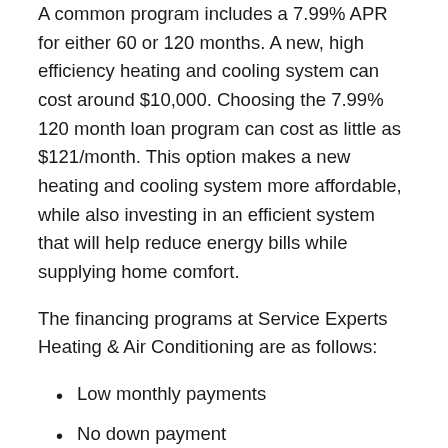A common program includes a 7.99% APR for either 60 or 120 months. A new, high efficiency heating and cooling system can cost around $10,000. Choosing the 7.99% 120 month loan program can cost as little as $121/month. This option makes a new heating and cooling system more affordable, while also investing in an efficient system that will help reduce energy bills while supplying home comfort.
The financing programs at Service Experts Heating & Air Conditioning are as follows:
Low monthly payments
No down payment
No annual fees
No prepayment conditions